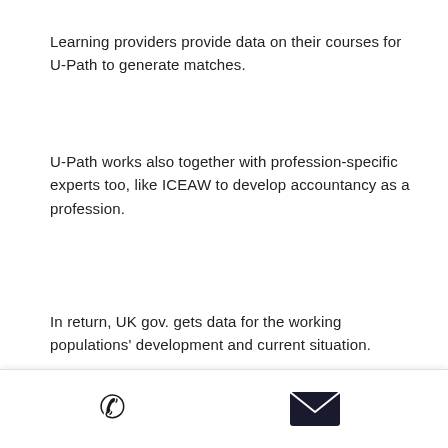Learning providers provide data on their courses for U-Path to generate matches.
U-Path works also together with profession-specific experts too, like ICEAW to develop accountancy as a profession.
In return, UK gov. gets data for the working populations' development and current situation.
[Figure (infographic): Infographic showing a Learning Provider figure at the top sending course data and user info of development downward, with a flow from OECD Future through a donut icon, skill sets, a building/worker icon, skill sets, to a crown icon.]
Phone and email contact icons